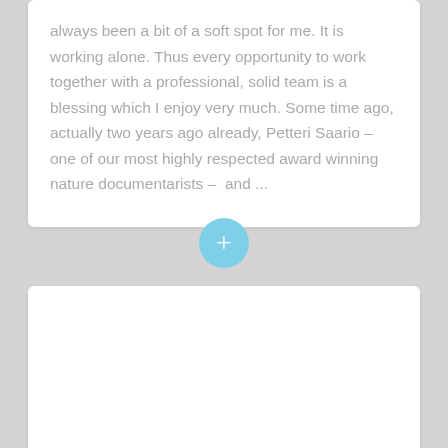always been a bit of a soft spot for me. It is working alone. Thus every opportunity to work together with a professional, solid team is a blessing which I enjoy very much. Some time ago, actually two years ago already, Petteri Saario – one of our most highly respected award winning nature documentarists –  and ...
[Figure (other): A circular light-blue button with a white plus (+) symbol, used as an expand/read-more button between two content cards.]
[Figure (photo): A white card panel at the bottom of the page, mostly empty/white space, with the beginning of a bold title text visible at the bottom edge (partially cut off).]